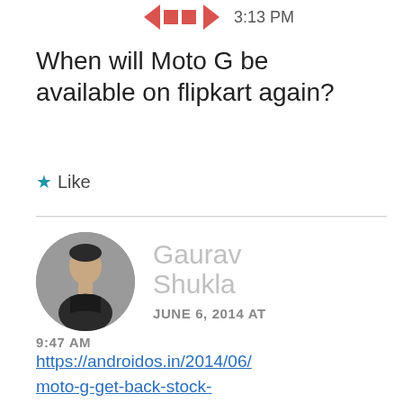[Figure (other): Navigation/share icon arrows and squares in red/orange with time 3:13 PM]
When will Moto G be available on flipkart again?
★ Like
[Figure (photo): Profile photo of Gaurav Shukla, a man in dark shirt, circular avatar]
Gaurav Shukla
JUNE 6, 2014 AT 9:47 AM
https://androidos.in/2014/06/moto-g-get-back-stock-flipkart-today/